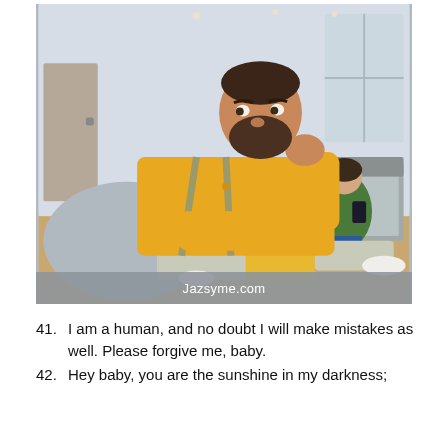[Figure (photo): A bearded man in a yellow shirt sits on a couch looking thoughtful with his fist near his mouth. In the background, a woman with dark hair sits on a bed looking at her phone. The setting appears to be a bedroom/living area. A gray banner at the bottom reads 'Jazsyme.com'.]
Jazsyme.com
41. I am a human, and no doubt I will make mistakes as well. Please forgive me, baby.
42. Hey baby, you are the sunshine in my darkness;